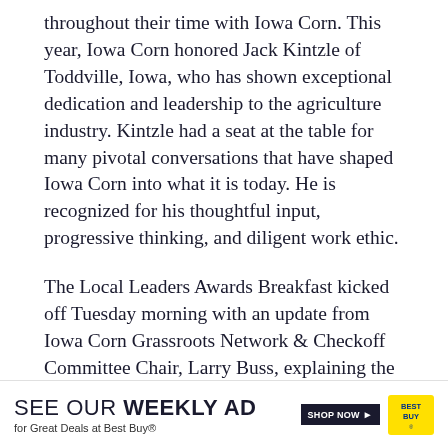throughout their time with Iowa Corn. This year, Iowa Corn honored Jack Kintzle of Toddville, Iowa, who has shown exceptional dedication and leadership to the agriculture industry. Kintzle had a seat at the table for many pivotal conversations that have shaped Iowa Corn into what it is today. He is recognized for his thoughtful input, progressive thinking, and diligent work ethic.
The Local Leaders Awards Breakfast kicked off Tuesday morning with an update from Iowa Corn Grassroots Network & Checkoff Committee Chair, Larry Buss, explaining the plan to grow ICGA membership. Iowa Secretary of Agriculture Mike Naig w... partic... ir
[Figure (other): Advertisement banner: SEE OUR WEEKLY AD for Great Deals at Best Buy® with SHOP NOW button and Best Buy logo]